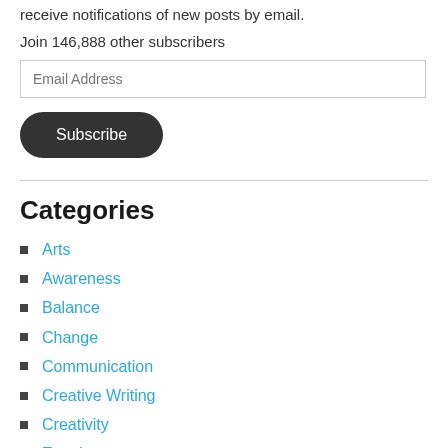receive notifications of new posts by email.
Join 146,888 other subscribers
Email Address
Subscribe
Categories
Arts
Awareness
Balance
Change
Communication
Creative Writing
Creativity
Emotions
Empowerment
EQ